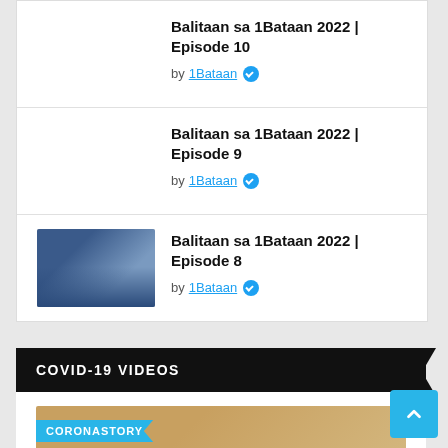Balitaan sa 1Bataan 2022 | Episode 10
by 1Bataan
Balitaan sa 1Bataan 2022 | Episode 9
by 1Bataan
Balitaan sa 1Bataan 2022 | Episode 8
by 1Bataan
COVID-19 VIDEOS
[Figure (screenshot): Thumbnail image with CORONASTORY banner overlay and a woman wearing a face mask]